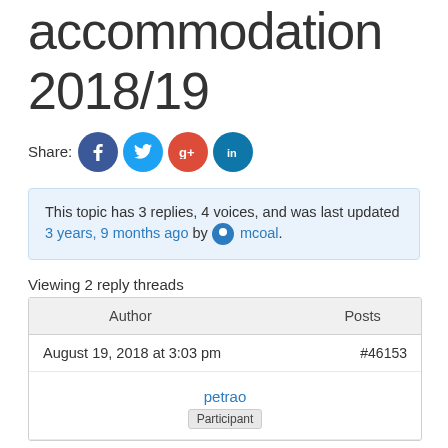accommodation 2018/19
Share:
This topic has 3 replies, 4 voices, and was last updated 3 years, 9 months ago by mcoal.
Viewing 2 reply threads
| Author | Posts |
| --- | --- |
| August 19, 2018 at 3:03 pm | #46153 |
| petrao
Participant |  |
petrao
Participant